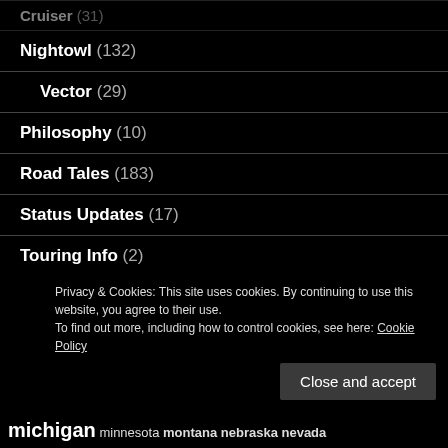Cruiser (31)
Nightowl (132)
Vector (29)
Philosophy (10)
Road Tales (183)
Status Updates (17)
Touring Info (2)
Wrenching (11)
Privacy & Cookies: This site uses cookies. By continuing to use this website, you agree to their use.
To find out more, including how to control cookies, see here: Cookie Policy
Close and accept
michigan minnesota montana nebraska nevada